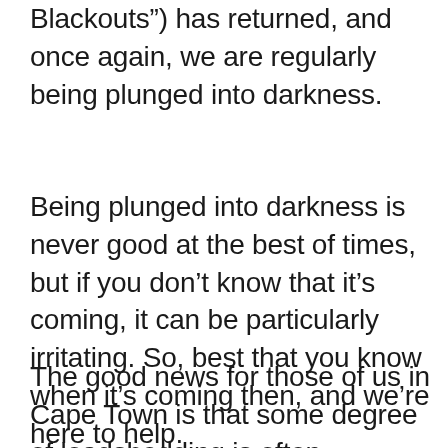Blackouts”) has returned, and once again, we are regularly being plunged into darkness.
Being plunged into darkness is never good at the best of times, but if you don’t know that it’s coming, it can be particularly irritating. So, best that you know when it’s coming then, and we’re here to help.
The good news for those of us in Cape Town is that some degree of loadshedding is often mitigated by our spare generation